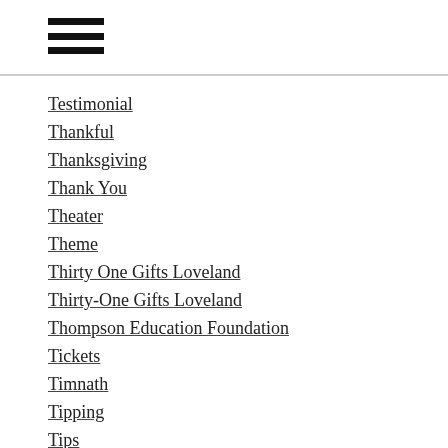☰
Testimonial
Thankful
Thanksgiving
Thank You
Theater
Theme
Thirty One Gifts Loveland
Thirty-One Gifts Loveland
Thompson Education Foundation
Tickets
Timnath
Tipping
Tips
Toast
Top 10
Tour